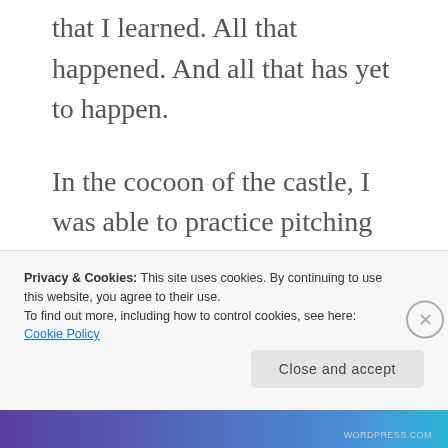that I learned. All that happened. And all that has yet to happen.
In the cocoon of the castle, I was able to practice pitching “They Don’t Eat Alone in Spain” to mentors – three individuals steeped and successful in the business of movies, television and publishing – as I would for agent
Privacy & Cookies: This site uses cookies. By continuing to use this website, you agree to their use.
To find out more, including how to control cookies, see here: Cookie Policy
Close and accept